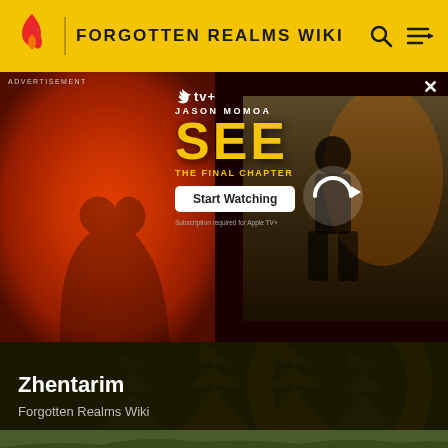FORGOTTEN REALMS WIKI
[Figure (screenshot): Apple TV+ advertisement banner for the show SEE - The Final Chapter featuring Jason Momoa, with a yellow 'Start Watching' button]
Zhentarim
Forgotten Realms Wiki
[Figure (illustration): Fantasy creature illustration - a beast-like monster with spikes and claws against a green background]